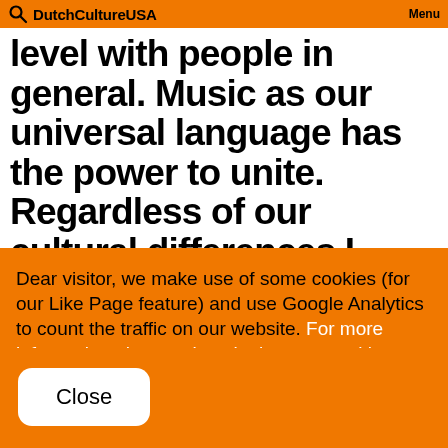DutchCultureUSA Menu
level with people in general. Music as our universal language has the power to unite. Regardless of our cultural differences I believe we have an innate
Dear visitor, we make use of some cookies (for our Like Page feature) and use Google Analytics to count the traffic on our website. For more information please take a look at our cookie policy.
Close